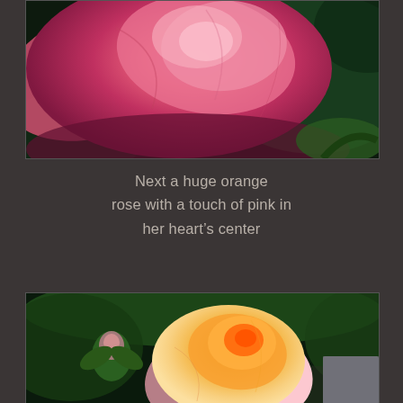[Figure (photo): Close-up macro photograph of a large pink rose with deep magenta/red petals in the foreground and green leaves blurred in the background]
Next a huge orange rose with a touch of pink in her heart's center
[Figure (photo): Photograph of a large orange and pink rose in bloom surrounded by green leaves, with a small green rosebud visible to the left]